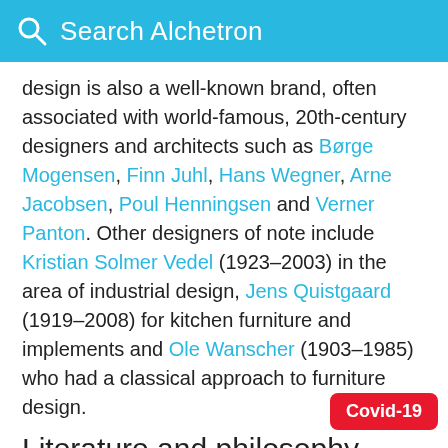Search Alchetron
design is also a well-known brand, often associated with world-famous, 20th-century designers and architects such as Børge Mogensen, Finn Juhl, Hans Wegner, Arne Jacobsen, Poul Henningsen and Verner Panton. Other designers of note include Kristian Solmer Vedel (1923–2003) in the area of industrial design, Jens Quistgaard (1919–2008) for kitchen furniture and implements and Ole Wanscher (1903–1985) who had a classical approach to furniture design.
Literature and philosophy
The first known Danish literature is myths and re from the 10th and 11th century. Saxo Grammaticus